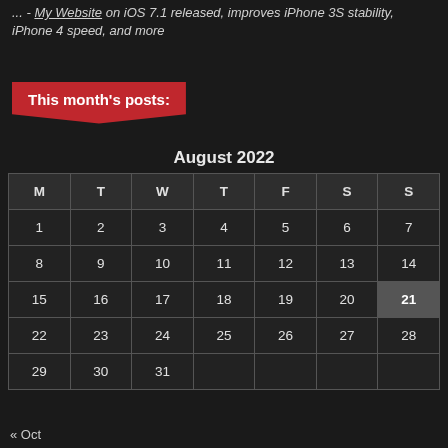... - My Website on iOS 7.1 released, improves iPhone 3S stability, iPhone 4 speed, and more
This month's posts:
August 2022
| M | T | W | T | F | S | S |
| --- | --- | --- | --- | --- | --- | --- |
| 1 | 2 | 3 | 4 | 5 | 6 | 7 |
| 8 | 9 | 10 | 11 | 12 | 13 | 14 |
| 15 | 16 | 17 | 18 | 19 | 20 | 21 |
| 22 | 23 | 24 | 25 | 26 | 27 | 28 |
| 29 | 30 | 31 |  |  |  |  |
« Oct